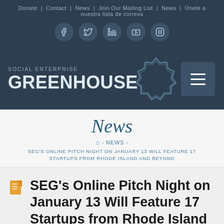Donate | Contact | News | Join Our Mailing List | News | Únete a nuestra lista de correos
[Figure (logo): Social Enterprise Greenhouse logo with badge/seal graphic and hamburger menu button]
News
🏠 › NEWS › SEG'S ONLINE PITCH NIGHT ON JANUARY 13 WILL FEATURE 17 STARTUPS FROM RHODE ISLAND AND BEYOND
SEG's Online Pitch Night on January 13 Will Feature 17 Startups from Rhode Island and Beyond